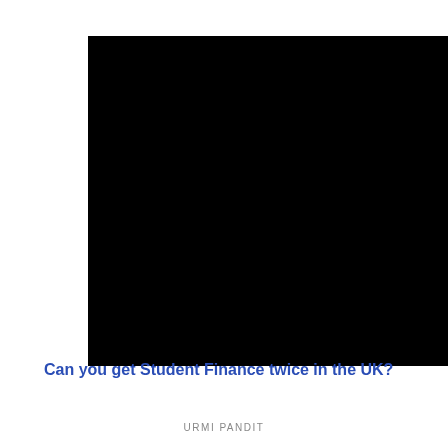[Figure (photo): Black rectangular image placeholder occupying the top portion of the page]
Can you get Student Finance twice in the UK?
URMI PANDIT